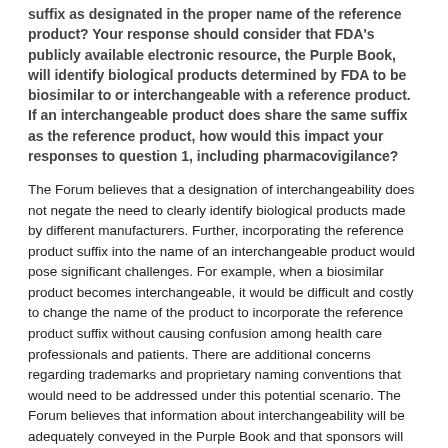suffix as designated in the proper name of the reference product? Your response should consider that FDA's publicly available electronic resource, the Purple Book, will identify biological products determined by FDA to be biosimilar to or interchangeable with a reference product. If an interchangeable product does share the same suffix as the reference product, how would this impact your responses to question 1, including pharmacovigilance?
The Forum believes that a designation of interchangeability does not negate the need to clearly identify biological products made by different manufacturers. Further, incorporating the reference product suffix into the name of an interchangeable product would pose significant challenges. For example, when a biosimilar product becomes interchangeable, it would be difficult and costly to change the name of the product to incorporate the reference product suffix without causing confusion among health care professionals and patients. There are additional concerns regarding trademarks and proprietary naming conventions that would need to be addressed under this potential scenario. The Forum believes that information about interchangeability will be adequately conveyed in the Purple Book and that sponsors will be able to communicate this information to physicians as well.
1. Would there be additional benefits or challenges if the